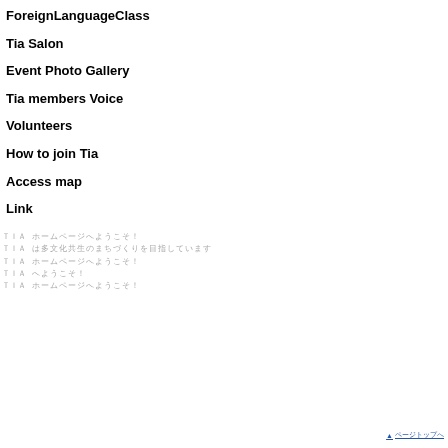ForeignLanguageClass
Tia Salon
Event Photo Gallery
Tia members Voice
Volunteers
How to join Tia
Access map
Link
Japanese text lines (multiple lines in Japanese script)
▲ ページトップへ